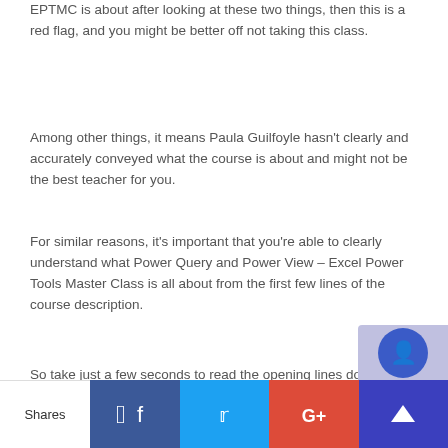EPTMC is about after looking at these two things, then this is a red flag, and you might be better off not taking this class.
Among other things, it means Paula Guilfoyle hasn't clearly and accurately conveyed what the course is about and might not be the best teacher for you.
For similar reasons, it's important that you're able to clearly understand what Power Query and Power View – Excel Power Tools Master Class is all about from the first few lines of the course description.
So take just a few seconds to read the opening lines down below and see what you think of them.
Opening lines of Paula Guilfoyle's official description of PQAPV-EPTMC
Power Query enhances self-service business intellige…
Shares  [Facebook] [Twitter] [G+] [other]